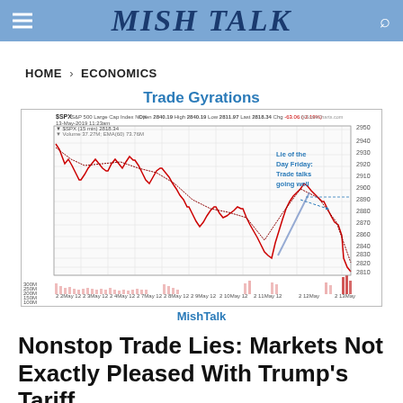MISH TALK
HOME > ECONOMICS
Trade Gyrations
[Figure (continuous-plot): S&P 500 Large Cap Index ($SPX) 15-minute candlestick chart from 2 May to 13 May 2019, showing trade gyrations. Annotation reads 'Lie of the Day Friday: Trade talks going well'. Open 2840.19, High 2840.19, Low 2811.97, Last 2818.34, Chg -63.06 (-2.19%). Y-axis ranges approximately 2810 to 2950. Volume bars at bottom. Source: StockCharts.com. Watermark: MishTalk.]
MishTalk
Nonstop Trade Lies: Markets Not Exactly Pleased With Trump's Tariff